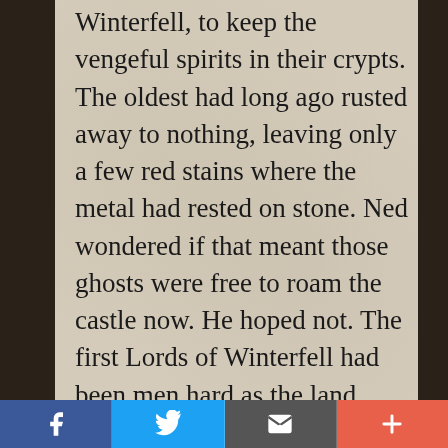Winterfell, to keep the vengeful spirits in their crypts. The oldest had long ago rusted away to nothing, leaving only a few red stains where the metal had rested on stone. Ned wondered if that meant those ghosts were free to roam the castle now. He hoped not. The first Lords of Winterfell had been men hard as the land they ruled. – AGOT, Eddard I
Facebook | Twitter | Email | More